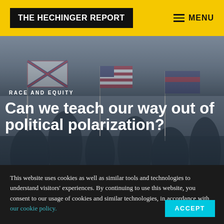THE HECHINGER REPORT | MENU
[Figure (photo): Crowd scene with flags including Confederate flag and American flags, people at a political rally outdoors in overcast conditions]
RACE AND EQUITY
Can we teach our way out of political polarization?
Research and experts say it's complicated, but
This website uses cookies as well as similar tools and technologies to understand visitors' experiences. By continuing to use this website, you consent to our usage of cookies and similar technologies, in accordance with our cookie policy.